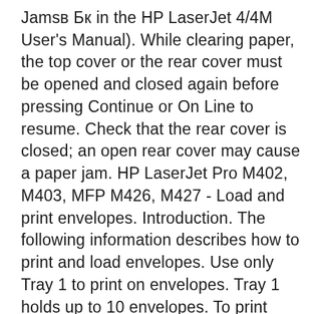Jamsв Бк in the HP LaserJet 4/4M User's Manual). While clearing paper, the top cover or the rear cover must be opened and closed again before pressing Continue or On Line to resume. Check that the rear cover is closed; an open rear cover may cause a paper jam. HP LaserJet Pro M402, M403, MFP M426, M427 - Load and print envelopes. Introduction. The following information describes how to print and load envelopes. Use only Tray 1 to print on envelopes. Tray 1 holds up to 10 envelopes. To print envelopes using the manual feed option, follow these steps to select the correct settings in the print driver, and then load the envelopes into the tray after